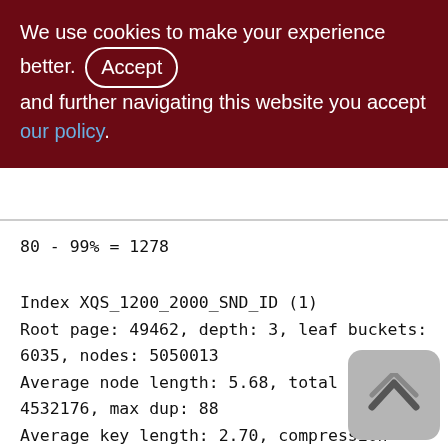We use cookies to make your experience better. By accepting and further navigating this website you accept our policy.
80 - 99% = 1278
Index XQS_1200_2000_SND_ID (1)
Root page: 49462, depth: 3, leaf buckets: 6035, nodes: 5050013
Average node length: 5.68, total dup: 4532176, max dup: 88
Average key length: 2.70, compression ratio: 3.34
Average prefix length: 8.41, average data length: 0.59
Clustering factor: 836581, ratio: 0.17
Fill distribution:
[Figure (other): Back to top button - upward chevron arrow on grey rounded rectangle]